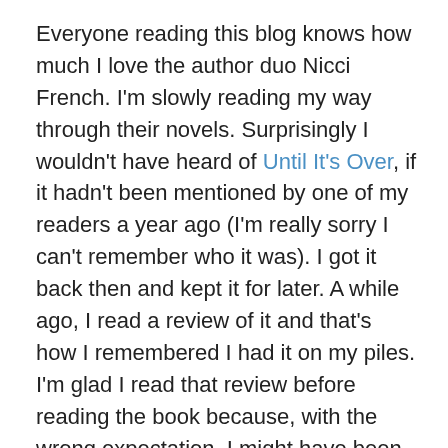Everyone reading this blog knows how much I love the author duo Nicci French. I'm slowly reading my way through their novels. Surprisingly I wouldn't have heard of Until It's Over, if it hadn't been mentioned by one of my readers a year ago (I'm really sorry I can't remember who it was). I got it back then and kept it for later. A while ago, I read a review of it and that's how I remembered I had it on my piles. I'm glad I read that review before reading the book because, with the wrong expectation, I might have been disappointed. They did something very unusual here. They wrote two distinct parts. Part one is told from the point of view of London Cycling Courier Astrid, part two from the point of view of the perpetrator. It wasn't easy to adapt to part two because I loved part one so much. Astrid lives together with a group of friends in an old house, in an area of London that hasn't been gentrified yet. Suddenly